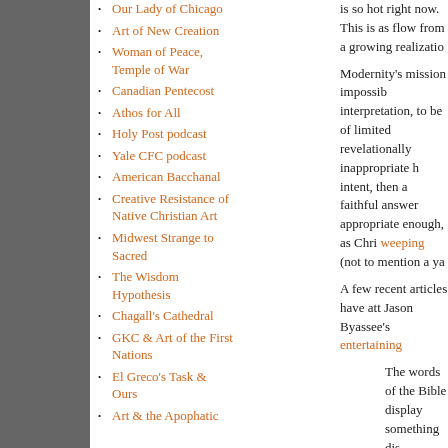Our Lady of Chicago
Art of New Creation
Woman of Peace, Temple of War
Canadian Pentecost
Athos for All
Holy Post podcast
Yale CFC podcast
American Bacchanal
Creative Resistance of Native Christian Art
Midwest Strange to Sacred
The Wisdom Hypothesis
Chagall's Cathedral
GKC & Art of the First Nations
El Greco's Task & Ours
Art & the Apophatic
is so hot right now. This is as flow from a growing realizatio
Modernity's mission impossib interpretation, to be of limited revelationally inappropriate h intent, then a faithful answer appropriate enough, as Chri weeping (not to mention a ya
A few recent articles have att Jason Byassee's entertaining
The words of the Bible display something dis
Byassee refers us to Lewis A Scripture, does not amount t Byassee makes a similar poi concur in his forthcoming bo issue also devoted to theolog
The ManBearPig
There can, however, be ugly Seminaries today, a monstro